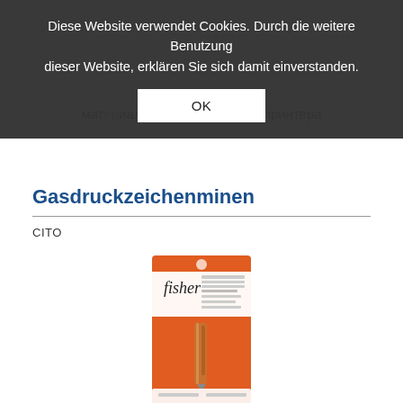Diese Website verwendet Cookies. Durch die weitere Benutzung dieser Website, erklären Sie sich damit einverstanden.
OK
Gasdruckzeichenminen
CITO
[Figure (photo): Fisher Space Pen refill cartridge in orange retail packaging]
Высокое качество и долгий срок службы.